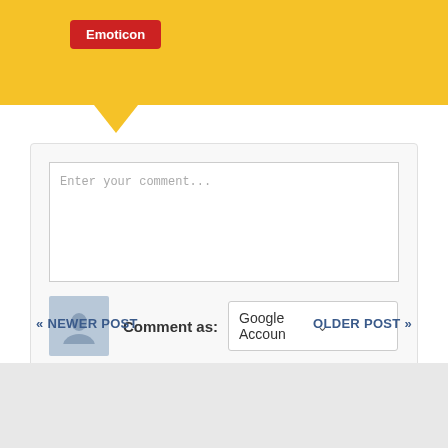[Figure (screenshot): Yellow tooltip banner with red Emoticon button label at the top of the page, with a downward pointing arrow]
Emoticon
[Figure (screenshot): Comment form with text area placeholder 'Enter your comment...', user avatar, 'Comment as:' label, Google Account dropdown, Publish and Preview buttons]
Enter your comment...
Comment as:
Google Accoun
Publish
Preview
« NEWER POST
OLDER POST »